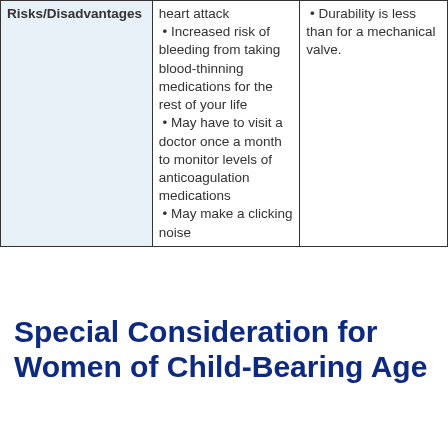|  | Mechanical Valve | Tissue Valve |
| --- | --- | --- |
| Risks/Disadvantages | • heart attack
• Increased risk of bleeding from taking blood-thinning medications for the rest of your life
• May have to visit a doctor once a month to monitor levels of anticoagulation medications
• May make a clicking noise | • Durability is less than for a mechanical valve. |
Special Consideration for Women of Child-Bearing Age